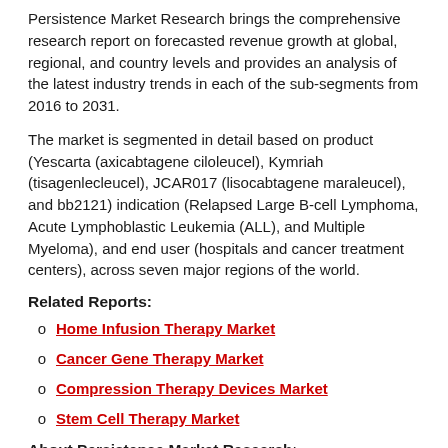Persistence Market Research brings the comprehensive research report on forecasted revenue growth at global, regional, and country levels and provides an analysis of the latest industry trends in each of the sub-segments from 2016 to 2031.
The market is segmented in detail based on product (Yescarta (axicabtagene ciloleucel), Kymriah (tisagenlecleucel), JCAR017 (lisocabtagene maraleucel), and bb2121) indication (Relapsed Large B-cell Lymphoma, Acute Lymphoblastic Leukemia (ALL), and Multiple Myeloma), and end user (hospitals and cancer treatment centers), across seven major regions of the world.
Related Reports:
Home Infusion Therapy Market
Cancer Gene Therapy Market
Compression Therapy Devices Market
Stem Cell Therapy Market
About Persistence Market Research:
Persistence Market Research (PMR), as a 3rd-party research organization,